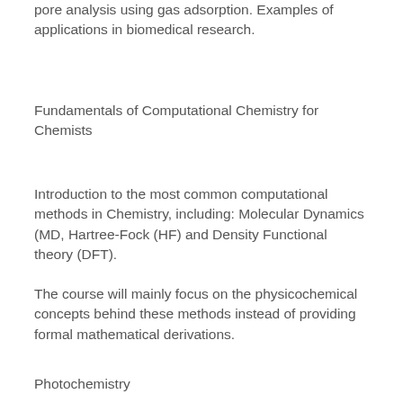pore analysis using gas adsorption. Examples of applications in biomedical research.
Fundamentals of Computational Chemistry for Chemists
Introduction to the most common computational methods in Chemistry, including: Molecular Dynamics (MD, Hartree-Fock (HF) and Density Functional theory (DFT).
The course will mainly focus on the physicochemical concepts behind these methods instead of providing formal mathematical derivations.
Photochemistry